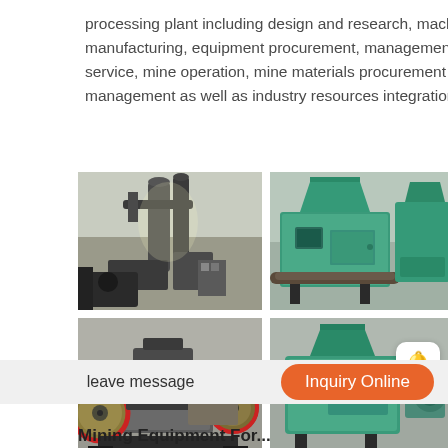processing plant including design and research, machine manufacturing, equipment procurement, management service, mine operation, mine materials procurement & management as well as industry resources integration.
[Figure (photo): Industrial grinding/milling machine in a factory setting, dark metal equipment with pipes and ductwork]
[Figure (photo): Green briquette press machine in a factory, teal/green industrial equipment]
[Figure (photo): Jaw crusher machine with large red-rimmed flywheels, industrial mining equipment]
[Figure (photo): Green/teal briquette machine, industrial equipment in a factory]
Mining Equipment For...